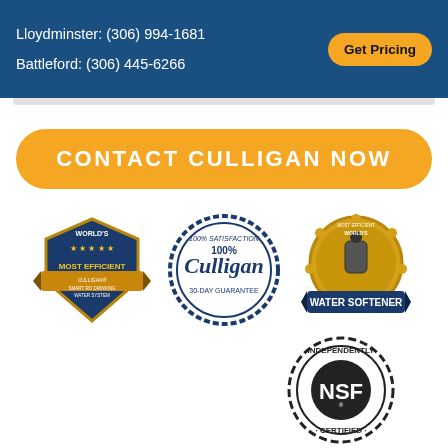Lloydminster: (306) 994-1681
Battleford: (306) 445-6266
Get Pricing
CONTACT CULLIGAN NOW
[Figure (logo): World's Most Efficient badge - Culligan Smart RO Drinking Water System]
[Figure (logo): 100% Satisfaction 30-Day Guarantee - Culligan seal]
[Figure (logo): World's Most Efficient Water Softener gold badge]
[Figure (logo): NSF Independently Certified seal]